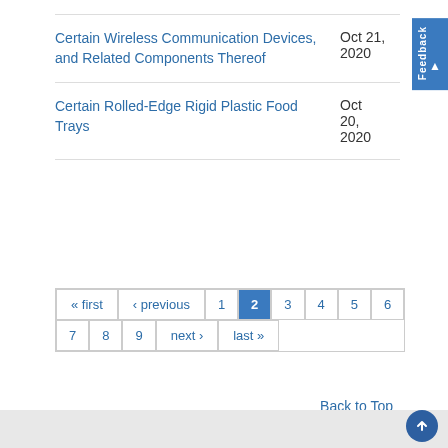Certain Wireless Communication Devices, and Related Components Thereof	Oct 21, 2020
Certain Rolled-Edge Rigid Plastic Food Trays	Oct 20, 2020
« first ‹ previous 1 2 3 4 5 6 7 8 9 next › last »
Back to Top